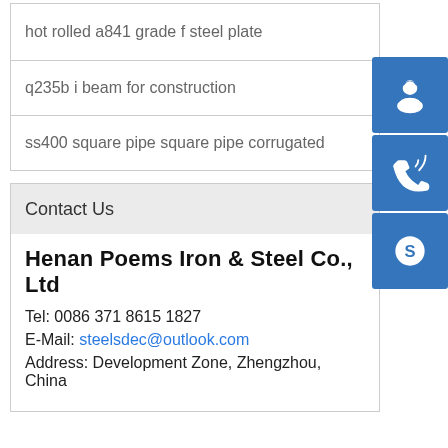hot rolled a841 grade f steel plate
q235b i beam for construction
ss400 square pipe square pipe corrugated
Contact Us
Henan Poems Iron & Steel Co., Ltd
Tel: 0086 371 8615 1827
E-Mail: steelsdec@outlook.com
Address: Development Zone, Zhengzhou, China
[Figure (illustration): Three blue icon buttons on the right side: a headset/customer service icon, a phone/call icon, and a Skype icon.]